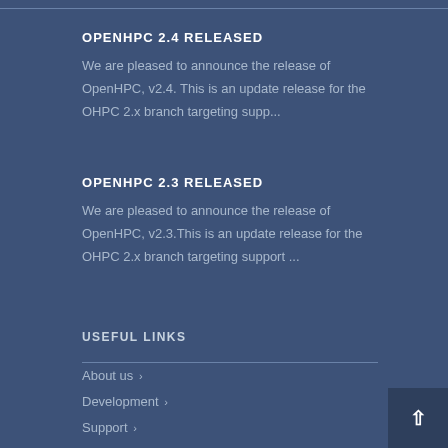OPENHPC 2.4 RELEASED
We are pleased to announce the release of OpenHPC, v2.4. This is an update release for the OHPC 2.x branch targeting supp...
OPENHPC 2.3 RELEASED
We are pleased to announce the release of OpenHPC, v2.3. This is an update release for the OHPC 2.x branch targeting support ...
USEFUL LINKS
About us ›
Development ›
Support ›
Downloads ›